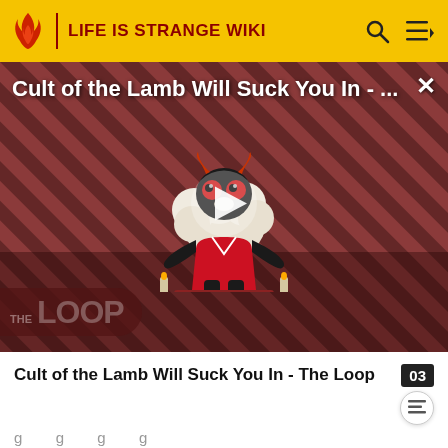LIFE IS STRANGE WIKI
[Figure (screenshot): Video thumbnail for 'Cult of the Lamb Will Suck You In - ...' with a cartoon lamb character on a red and black diagonal striped background with a play button overlay and 'THE LOOP' watermark]
Cult of the Lamb Will Suck You In - The Loop
can also be optionally cut by Finn in Episode 3 (styled with a mohawk). In Episode 4, Sean's hair has been shaved off for his stay in hospital. In Episode 5, his hair grows back